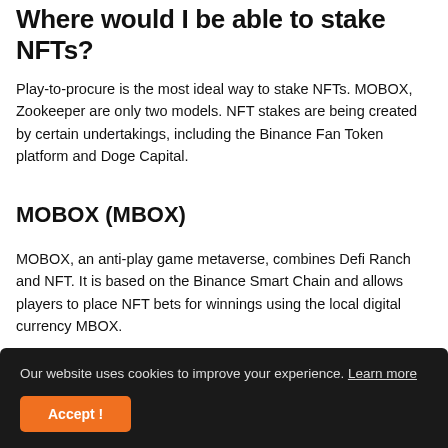Where would I be able to stake NFTs?
Play-to-procure is the most ideal way to stake NFTs. MOBOX, Zookeeper are only two models. NFT stakes are being created by certain undertakings, including the Binance Fan Token platform and Doge Capital.
MOBOX (MBOX)
MOBOX, an anti-play game metaverse, combines Defi Ranch and NFT. It is based on the Binance Smart Chain and allows players to place NFT bets for winnings using the local digital currency MBOX.
Our website uses cookies to improve your experience. Learn more
Accept!